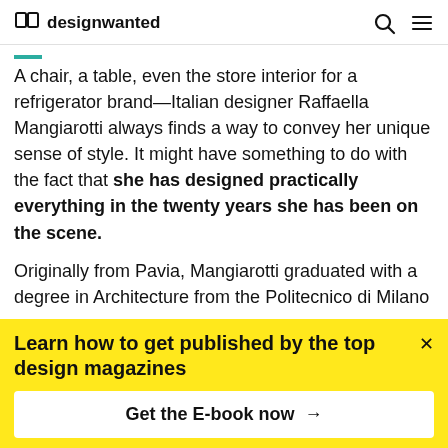designwanted
A chair, a table, even the store interior for a refrigerator brand—Italian designer Raffaella Mangiarotti always finds a way to convey her unique sense of style. It might have something to do with the fact that she has designed practically everything in the twenty years she has been on the scene.
Originally from Pavia, Mangiarotti graduated with a degree in Architecture from the Politecnico di Milano
Learn how to get published by the top design magazines
Get the E-book now →